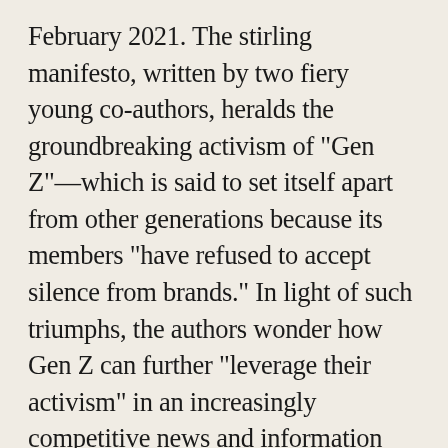February 2021. The stirling manifesto, written by two fiery young co-authors, heralds the groundbreaking activism of "Gen Z"—which is said to set itself apart from other generations because its members "have refused to accept silence from brands." In light of such triumphs, the authors wonder how Gen Z can further "leverage their activism" in an increasingly competitive news and information environment. Perhaps these change-hungry zoomers should just put together a grant proposal for the Omidyar Network. In order to succeed, however, they will need to demonstrate a commitment to "embedding equity and anti-racism measures" in their work.